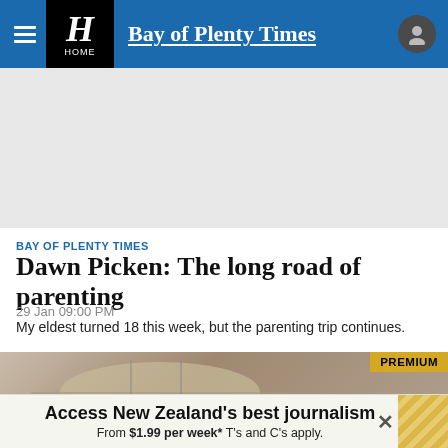Bay of Plenty Times — HOME
[Figure (other): Advertisement placeholder area (gray rectangle)]
BAY OF PLENTY TIMES
Dawn Picken: The long road of parenting
29 Jan 09:00 PM
My eldest turned 18 this week, but the parenting trip continues.
[Figure (photo): Partial photo of a person wearing a hat with headphone cables visible; PREMIUM badge in top-right corner; play button overlay at bottom center]
Access New Zealand's best journalism From $1.99 per week* T's and C's apply.